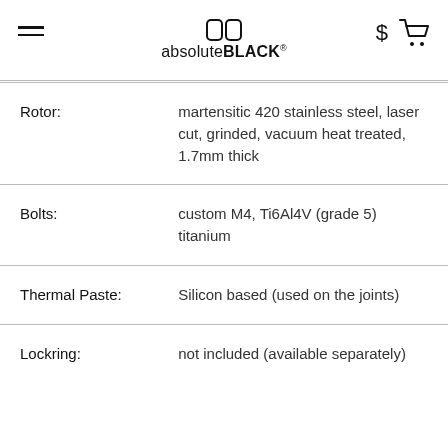absolute BLACK
| Rotor: | martensitic 420 stainless steel, laser cut, grinded, vacuum heat treated, 1.7mm thick |
| Bolts: | custom M4, Ti6Al4V (grade 5) titanium |
| Thermal Paste: | Silicon based (used on the joints) |
| Lockring: | not included (available separately) |